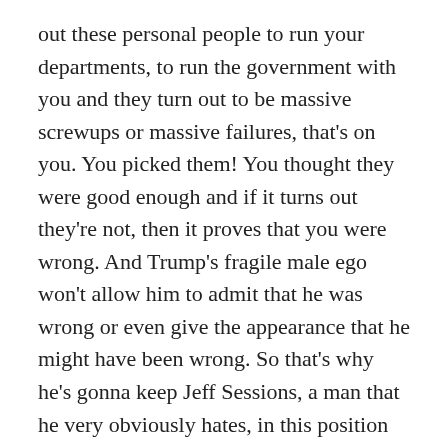out these personal people to run your departments, to run the government with you and they turn out to be massive screwups or massive failures, that's on you. You picked them! You thought they were good enough and if it turns out they're not, then it proves that you were wrong. And Trump's fragile male ego won't allow him to admit that he was wrong or even give the appearance that he might have been wrong. So that's why he's gonna keep Jeff Sessions, a man that he very obviously hates, in this position as Attorney General and Jeff Sessions doesn't have enough scruples to actually resign from a man who continues to insult him and berate him in front of the entire White House staff.
These two absolutely deserve each other. Because